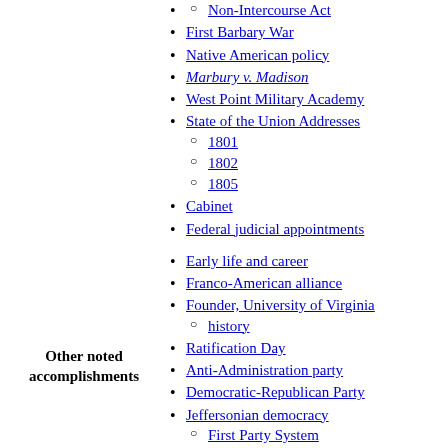Non-Intercourse Act
First Barbary War
Native American policy
Marbury v. Madison
West Point Military Academy
State of the Union Addresses
1801
1802
1805
Cabinet
Federal judicial appointments
Early life and career
Franco-American alliance
Founder, University of Virginia
history
Ratification Day
Anti-Administration party
Democratic-Republican Party
Jeffersonian democracy
First Party System
republicanism
Plan for Establishing Uniformity in the Coinage, Weights, and Measures of the United States (1790)
Kentucky and Virginia Resolutions
Other noted accomplishments